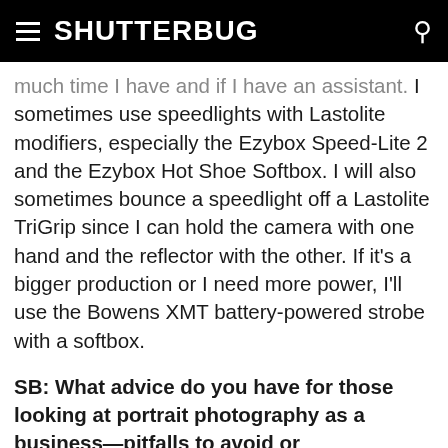SHUTTERBUG
much time I have and if I have an assistant. I sometimes use speedlights with Lastolite modifiers, especially the Ezybox Speed-Lite 2 and the Ezybox Hot Shoe Softbox. I will also sometimes bounce a speedlight off a Lastolite TriGrip since I can hold the camera with one hand and the reflector with the other. If it's a bigger production or I need more power, I'll use the Bowens XMT battery-powered strobe with a softbox.
SB: What advice do you have for those looking at portrait photography as a business—pitfalls to avoid or opportunities to pursue? Also, what lighting trend do you see happening in the near future?